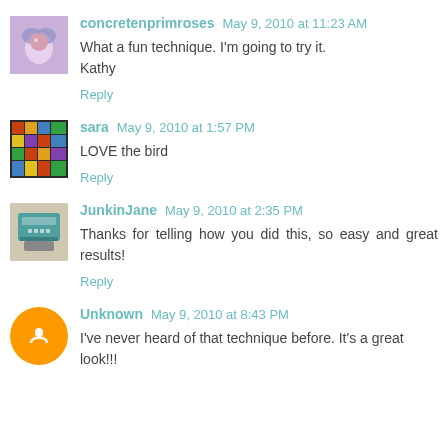concretenprimroses May 9, 2010 at 11:23 AM
What a fun technique. I'm going to try it.
Kathy
Reply
sara May 9, 2010 at 1:57 PM
LOVE the bird
Reply
JunkinJane May 9, 2010 at 2:35 PM
Thanks for telling how you did this, so easy and great results!
Reply
Unknown May 9, 2010 at 8:43 PM
I've never heard of that technique before. It's a great look!!!